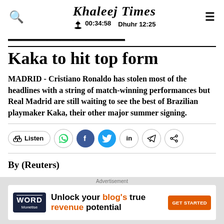Khaleej Times | 00:34:58 | Dhuhr 12:25
Kaka to hit top form
MADRID - Cristiano Ronaldo has stolen most of the headlines with a string of match-winning performances but Real Madrid are still waiting to see the best of Brazilian playmaker Kaka, their other major summer signing.
By (Reuters)
[Figure (screenshot): Advertisement banner: Word Monetize - Unlock your blog's true revenue potential - GET STARTED]